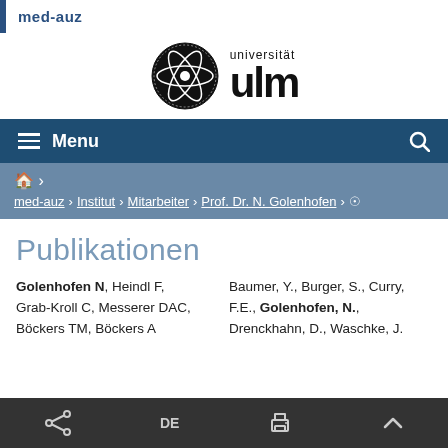med-auz
[Figure (logo): Universität Ulm logo with circular atom emblem and 'universität ulm' wordmark]
Menu
🏠 › med-auz › Institut › Mitarbeiter › Prof. Dr. N. Golenhofen › 📍
Publikationen
Golenhofen N, Heindl F, Grab-Kroll C, Messerer DAC, Böckers TM, Böckers A
Baumer, Y., Burger, S., Curry, F.E., Golenhofen, N., Drenckhahn, D., Waschke, J.